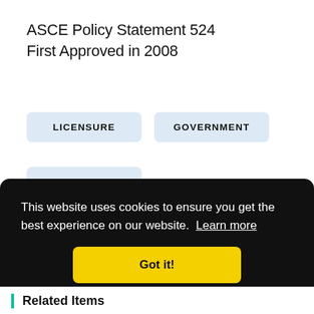ASCE Policy Statement 524
First Approved in 2008
LICENSURE
GOVERNMENT
LICENSURE
This website uses cookies to ensure you get the best experience on our website. Learn more
Got it!
Related Items